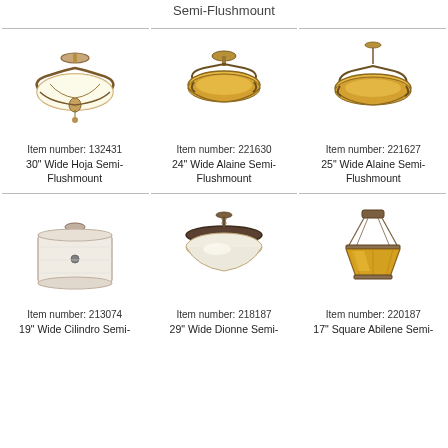Semi-Flushmount
[Figure (photo): 30" Wide Hoja Semi-Flushmount ceiling light fixture with ornate bronze frame and frosted glass shade, item number 132431]
Item number: 132431
30" Wide Hoja Semi-Flushmount
[Figure (photo): 24" Wide Alaine Semi-Flushmount ceiling light fixture with decorative bronze frame and amber glass bowl shade, item number 221630]
Item number: 221630
24" Wide Alaine Semi-Flushmount
[Figure (photo): 25" Wide Alaine Semi-Flushmount ceiling light fixture with decorative bronze frame and amber glass bowl shade, item number 221627]
Item number: 221627
25" Wide Alaine Semi-Flushmount
[Figure (photo): 19" Wide Cilindro Semi-Flushmount drum shade ceiling light with white fabric shade, item number 213074]
Item number: 213074
19" Wide Cilindro Semi-
[Figure (photo): 29" Wide Dionne Semi-Flushmount ceiling light with bowl shade, item number 218187]
Item number: 218187
29" Wide Dionne Semi-
[Figure (photo): 17" Square Abilene Semi-Flushmount pendant light with amber stained glass shade and bronze chain, item number 220187]
Item number: 220187
17" Square Abilene Semi-